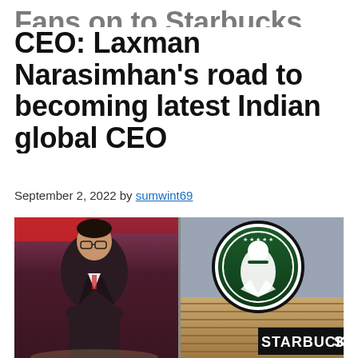Fans on to Starbucks CEO: Laxman Narasimhan's road to becoming latest Indian global CEO
September 2, 2022 by sumwint69
[Figure (photo): Composite image: left side shows Laxman Narasimhan (man in dark suit with glasses) at a presentation stage; right side shows the round green Starbucks logo sign on a building exterior with 'STARBUCKS' text signage below]